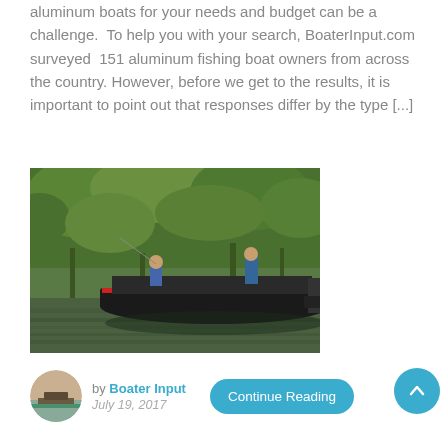aluminum boats for your needs and budget can be a challenge.  To help you with your search, BoaterInput.com surveyed  151 aluminum fishing boat owners from across the country. However, before we get to the results, it is important to point out that responses differ by the type [...]
[Figure (photo): Two people fishing on a dark aluminum boat on a calm lake surrounded by dense green forest trees, with an outboard motor visible at the stern.]
by Boater Input
July 19, 2017